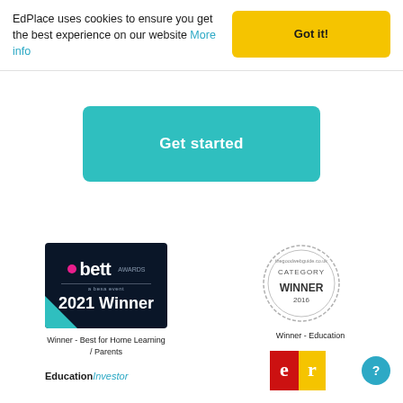EdPlace uses cookies to ensure you get the best experience on our website More info
Got it!
Get started
[Figure (logo): Bett Awards 2021 Winner badge with dark navy background and teal corner accent]
Winner - Best for Home Learning / Parents
[Figure (logo): The Good Web Guide Category Winner 2016 circular stamp badge]
Winner - Education
[Figure (logo): Education Investor logo in teal/blue italic text]
[Figure (logo): ER red and yellow badge logo]